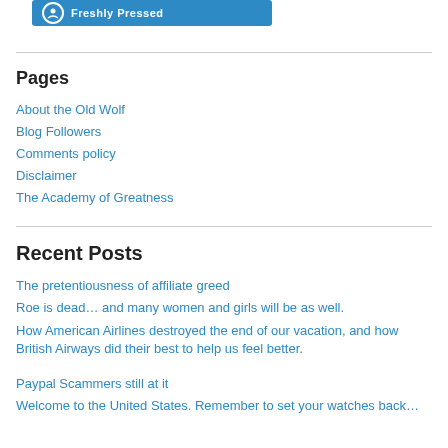[Figure (logo): Freshly Pressed blue banner with circular icon and white text]
Pages
About the Old Wolf
Blog Followers
Comments policy
Disclaimer
The Academy of Greatness
Recent Posts
The pretentiousness of affiliate greed
Roe is dead… and many women and girls will be as well.
How American Airlines destroyed the end of our vacation, and how British Airways did their best to help us feel better.
Paypal Scammers still at it
Welcome to the United States. Remember to set your watches back…